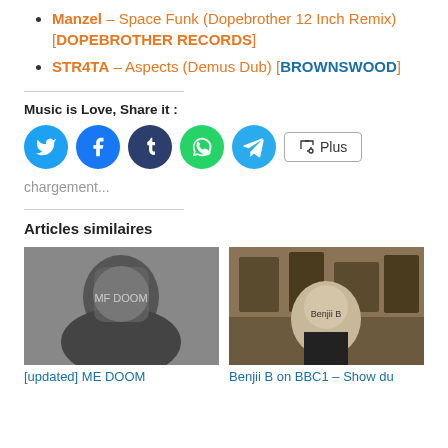Manzel – Space Funk (Dopebrother 12 Inch Remix) [DOPEBROTHER RECORDS]
STR4TA – Aspects (Demus Dub) [BROWNSWOOD]
Music is Love, Share it :
[Figure (infographic): Social share buttons: Twitter, Facebook, Tumblr, WhatsApp, Telegram, Plus button]
chargement...
Articles similaires
[Figure (photo): Photo of MF DOOM in mask]
[updated] ME DOOM
[Figure (photo): Photo of Benjii B person standing in front of wall]
Benjii B on BBC1 – Show du